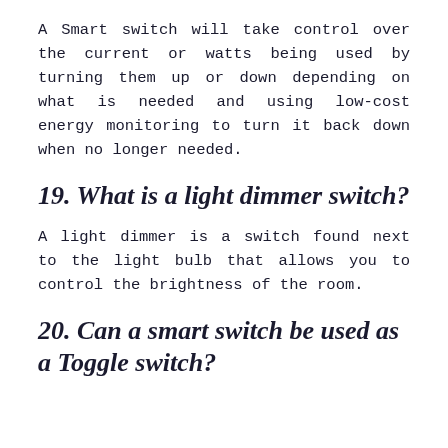A Smart switch will take control over the current or watts being used by turning them up or down depending on what is needed and using low-cost energy monitoring to turn it back down when no longer needed.
19. What is a light dimmer switch?
A light dimmer is a switch found next to the light bulb that allows you to control the brightness of the room.
20. Can a smart switch be used as a Toggle switch?